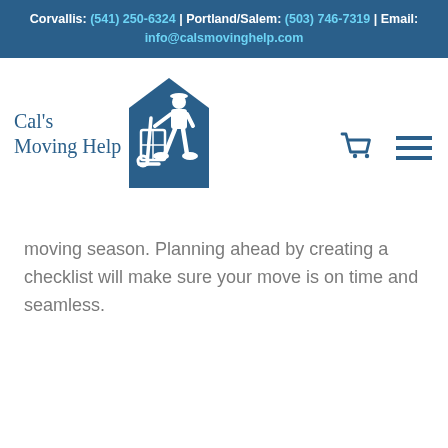Corvallis: (541) 250-6324 | Portland/Salem: (503) 746-7319 | Email: info@calsmovinghelp.com
[Figure (logo): Cal's Moving Help logo with a mover figure pushing a hand truck inside a house silhouette, accompanied by the text 'Cal's Moving Help']
moving season. Planning ahead by creating a checklist will make sure your move is on time and seamless.